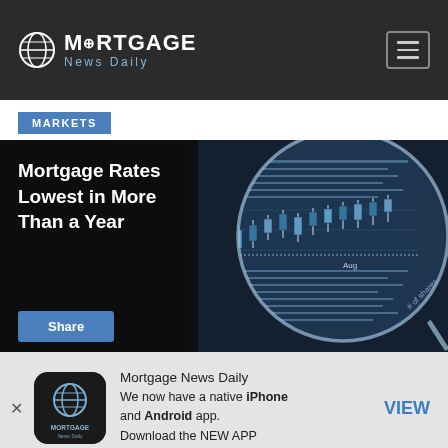MORTGAGE News Daily
MARKETS
[Figure (photo): Hero image with text overlay: 'Mortgage Rates Lowest in More Than a Year' on dark background with a magnifying glass showing a financial chart. Share button at bottom.]
Mortgage News Daily
We now have a native iPhone and Android app.
Download the NEW APP
VIEW